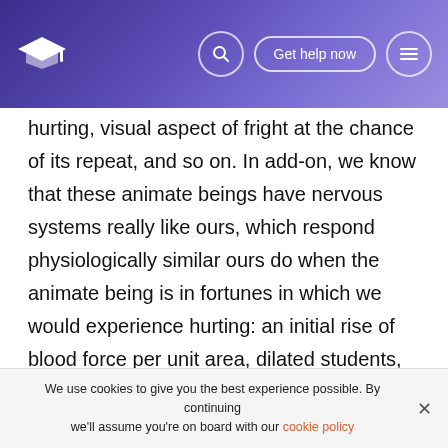Navigation bar with logo, search icon, Get help now button, and menu icon
hurting, visual aspect of fright at the chance of its repeat, and so on. In add-on, we know that these animate beings have nervous systems really like ours, which respond physiologically similar ours do when the animate being is in fortunes in which we would experience hurting: an initial rise of blood force per unit area, dilated students, sweat, an increased pulsation rate, and, if the stimulation continues, a autumn in blood force per unit area. Although human existences have a more developed intellectual cerebral mantle than other animate beings, this portion of the encephalon is concerned with believing maps instead than
We use cookies to give you the best experience possible. By continuing we'll assume you're on board with our cookie policy